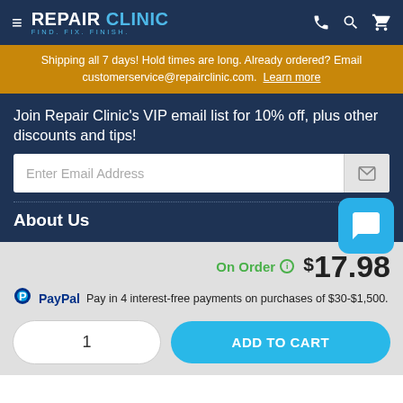≡ REPAIR CLINIC FIND. FIX. FINISH.
Shipping all 7 days! Hold times are long. Already ordered? Email customerservice@repairclinic.com. Learn more
Join Repair Clinic's VIP email list for 10% off, plus other discounts and tips!
Enter Email Address
About Us
On Order  $17.98
PayPal Pay in 4 interest-free payments on purchases of $30-$1,500.
1  ADD TO CART